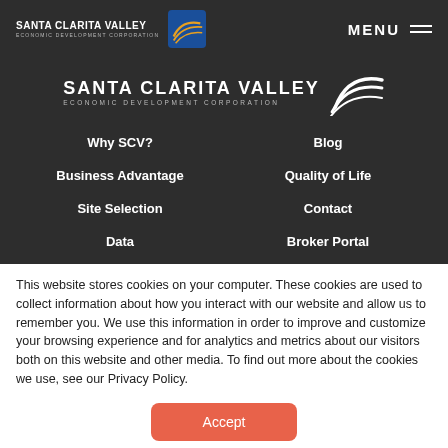[Figure (logo): Santa Clarita Valley Economic Development Corporation logo - small header version with blue square icon and wave graphic]
MENU
[Figure (logo): Santa Clarita Valley Economic Development Corporation large centered logo with wave graphic]
Why SCV?
Blog
Business Advantage
Quality of Life
Site Selection
Contact
Data
Broker Portal
This website stores cookies on your computer. These cookies are used to collect information about how you interact with our website and allow us to remember you. We use this information in order to improve and customize your browsing experience and for analytics and metrics about our visitors both on this website and other media. To find out more about the cookies we use, see our Privacy Policy.
Accept